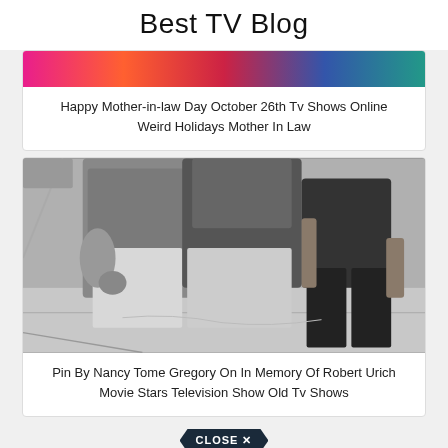Best TV Blog
[Figure (photo): Cropped colorful banner image at top of first card]
Happy Mother-in-law Day October 26th Tv Shows Online Weird Holidays Mother In Law
[Figure (photo): Black and white photo of people walking on a street, showing bodies from waist down - two people in casual clothes and one person in a dark swimsuit/shorts]
Pin By Nancy Tome Gregory On In Memory Of Robert Urich Movie Stars Television Show Old Tv Shows
CLOSE X